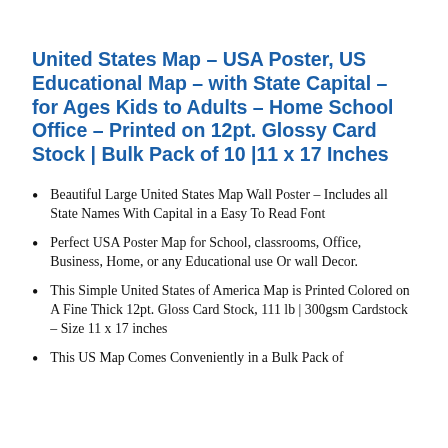United States Map – USA Poster, US Educational Map – with State Capital – for Ages Kids to Adults – Home School Office – Printed on 12pt. Glossy Card Stock | Bulk Pack of 10 |11 x 17 Inches
Beautiful Large United States Map Wall Poster – Includes all State Names With Capital in a Easy To Read Font
Perfect USA Poster Map for School, classrooms, Office, Business, Home, or any Educational use Or wall Decor.
This Simple United States of America Map is Printed Colored on A Fine Thick 12pt. Gloss Card Stock, 111 lb | 300gsm Cardstock – Size 11 x 17 inches
This US Map Comes Conveniently in a Bulk Pack of